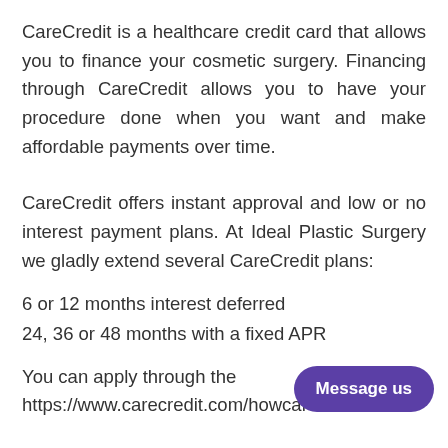CareCredit is a healthcare credit card that allows you to finance your cosmetic surgery. Financing through CareCredit allows you to have your procedure done when you want and make affordable payments over time.
CareCredit offers instant approval and low or no interest payment plans. At Ideal Plastic Surgery we gladly extend several CareCredit plans:
6 or 12 months interest deferred
24, 36 or 48 months with a fixed APR
You can apply through the https://www.carecredit.com/howcarecredit